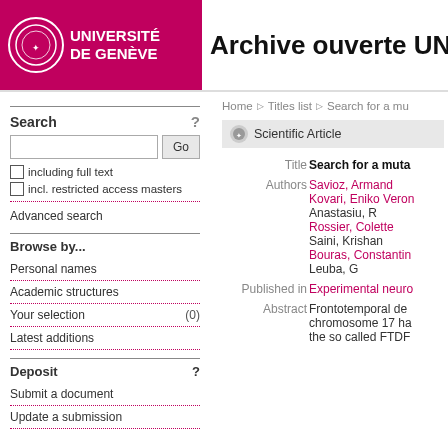[Figure (logo): Université de Genève logo with magenta/pink background, circular seal and white text]
Archive ouverte UN
Home ▷ Titles list ▷ Search for a mu
Scientific Article
Search
including full text
incl. restricted access masters
Advanced search
Browse by...
Personal names
Academic structures
Your selection (0)
Latest additions
Deposit
Submit a document
Update a submission
| Label | Value |
| --- | --- |
| Title | Search for a muta |
| Authors | Savioz, Armand
Kovari, Eniko Veron
Anastasiu, R
Rossier, Colette
Saini, Krishan
Bouras, Constantin
Leuba, G |
| Published in | Experimental neuro |
| Abstract | Frontotemporal de chromosome 17 ha the so called FTDF |